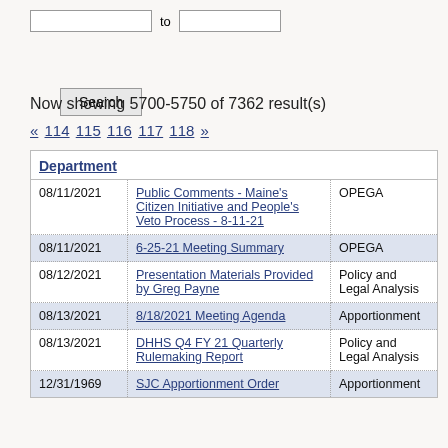Now showing 5700-5750 of 7362 result(s)
« 114 115 116 117 118 »
| Department |
| --- |
| 08/11/2021 | Public Comments - Maine's Citizen Initiative and People's Veto Process - 8-11-21 | OPEGA |
| 08/11/2021 | 6-25-21 Meeting Summary | OPEGA |
| 08/12/2021 | Presentation Materials Provided by Greg Payne | Policy and Legal Analysis |
| 08/13/2021 | 8/18/2021 Meeting Agenda | Apportionment |
| 08/13/2021 | DHHS Q4 FY 21 Quarterly Rulemaking Report | Policy and Legal Analysis |
| 12/31/1969 | SJC Apportionment Order | Apportionment |